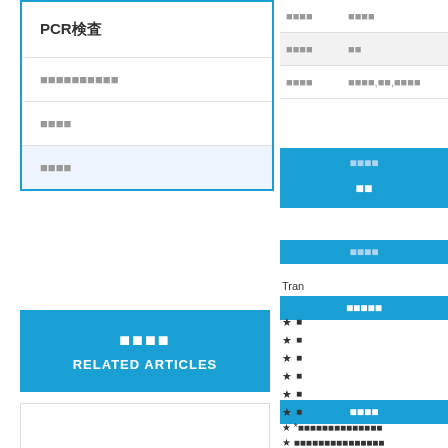PCR（検査）
■■■■■■■■■■
■■■■
■■■■（highlighted）
■■■■ RELATED ARTICLES
[Figure (other): White content area below related articles header]
| ■■■■ | ■■■■ |
| --- | --- |
| ■■■■ | ■■ |
| ■■■■ | ■■■■,■■,■■■■ |
■■■■
■■
■■■■
■■■■■
Tran...
★ ■...
★ ■...
★ ■...
★ ■...
★ ■...
★ ■...
★ *■■■■■■■■■■■■■■
★ ■■■■■■■■■■■■■■■